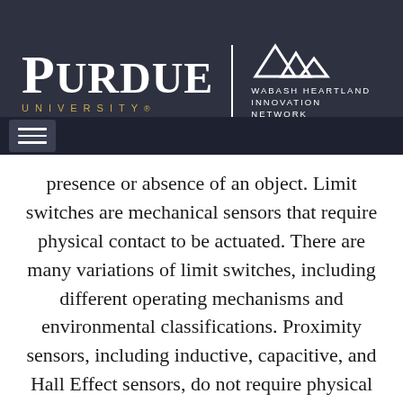[Figure (logo): Purdue University logo and Wabash Heartland Innovation Network logo on dark navy header bar with hamburger menu]
presence or absence of an object. Limit switches are mechanical sensors that require physical contact to be actuated. There are many variations of limit switches, including different operating mechanisms and environmental classifications. Proximity sensors, including inductive, capacitive, and Hall Effect sensors, do not require physical contact because they use an electronic or magnetic sensing field. These devices have different advantages and disadvantages and